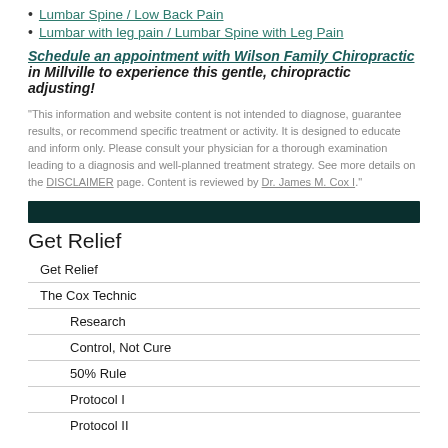Lumbar Spine / Low Back Pain
Lumbar with leg pain / Lumbar Spine with Leg Pain
Schedule an appointment with Wilson Family Chiropractic in Millville to experience this gentle, chiropractic adjusting!
"This information and website content is not intended to diagnose, guarantee results, or recommend specific treatment or activity. It is designed to educate and inform only. Please consult your physician for a thorough examination leading to a diagnosis and well-planned treatment strategy. See more details on the DISCLAIMER page. Content is reviewed by Dr. James M. Cox I."
Get Relief
Get Relief
The Cox Technic
Research
Control, Not Cure
50% Rule
Protocol I
Protocol II